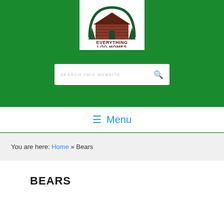[Figure (logo): Everything Log Homes logo — log cabin illustration with dark green arch, red-brown log walls, and text 'EVERYTHING LOG HOMES' below]
SEARCH THIS WEBSITE
≡ Menu
You are here: Home » Bears
BEARS